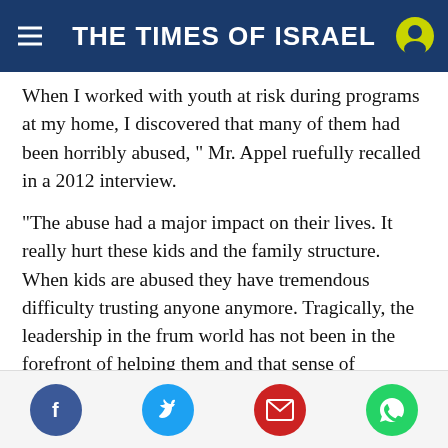THE TIMES OF ISRAEL
When I worked with youth at risk during programs at my home, I discovered that many of them had been horribly abused, “ Mr. Appel ruefully recalled in a 2012 interview.
“The abuse had a major impact on their lives. It really hurt these kids and the family structure. When kids are abused they have tremendous difficulty trusting anyone anymore. Tragically, the leadership in the frum world has not been in the forefront of helping them and that sense of abandonment triggers anger within these victims,” explained Mr. Appel.
Social share buttons: Facebook, Twitter, Email, WhatsApp